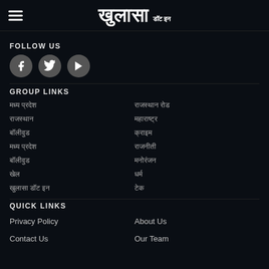खुलासा डॉट इन
FOLLOW US
[Figure (other): Social media icons: Facebook, Twitter, YouTube]
GROUP LINKS
मध्य प्रदेश
राजस्थान रोड
राजस्थान
महाराष्ट्र
क्राइम
क्राइम
राजनीती
मनोरंजन
बॉलीवुड
मनोरंजन
खेल
धर्म
खुलासा डॉट इन
टेक
QUICK LINKS
Privacy Policy
About Us
Contact Us
Our Team